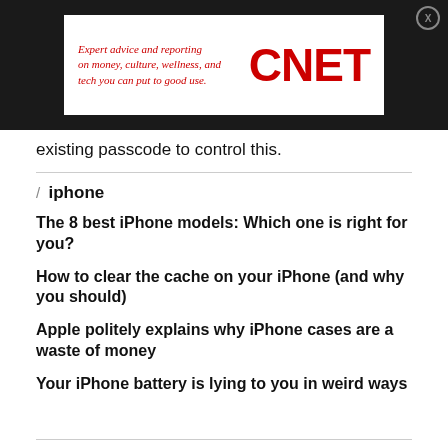[Figure (other): CNET advertisement banner with text 'Expert advice and reporting on money, culture, wellness, and tech you can put to good use.' and CNET logo in red on white background, set against dark background with close button]
existing passcode to control this.
/ iphone
The 8 best iPhone models: Which one is right for you?
How to clear the cache on your iPhone (and why you should)
Apple politely explains why iPhone cases are a waste of money
Your iPhone battery is lying to you in weird ways